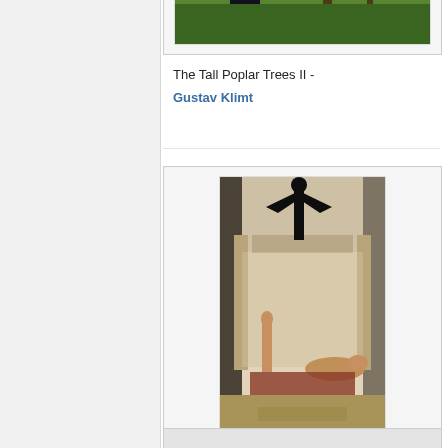[Figure (photo): Painting of tall dark poplar trees with green meadow landscape in background, by Gustav Klimt]
The Tall Poplar Trees II - Gustav Klimt
[Figure (photo): Painting of The Theater in Taomina showing classical figures and a dark winged statue on a pedestal, by Gustav Klimt, 1886-88]
The Theater in Taomina 1886-88 - Gustav Klimt
[Figure (photo): Partially visible painting at bottom of page, by Gustav Klimt]